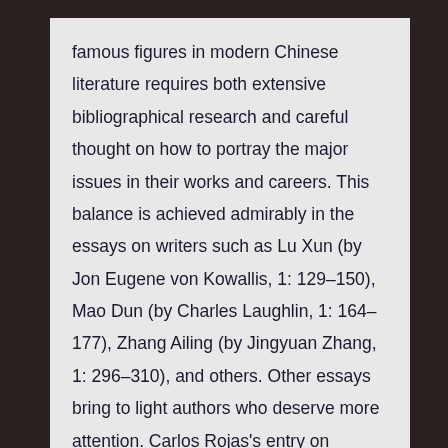famous figures in modern Chinese literature requires both extensive bibliographical research and careful thought on how to portray the major issues in their works and careers. This balance is achieved admirably in the essays on writers such as Lu Xun (by Jon Eugene von Kowallis, 1: 129–150), Mao Dun (by Charles Laughlin, 1: 164–177), Zhang Ailing (by Jingyuan Zhang, 1: 296–310), and others. Other essays bring to light authors who deserve more attention. Carlos Rojas's entry on Wumingshi (Bu Baonan), introduces a writer who, despite his extensive publications and high reputation, has gone almost entirely without mention in English-language scholarship (1: 228–234).